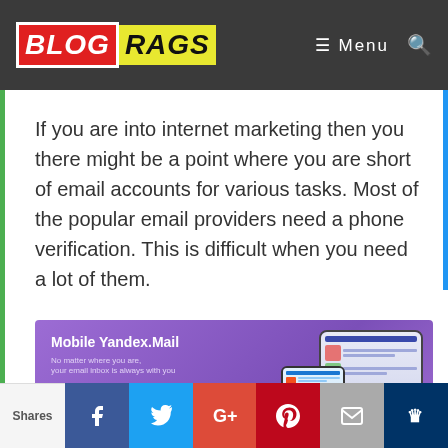BLOG RAGS — Menu
If you are into internet marketing then you there might be a point where you are short of email accounts for various tasks. Most of the popular email providers need a phone verification. This is difficult when you need a lot of them.
[Figure (screenshot): Mobile Yandex.Mail promotional banner showing a purple background with text 'Mobile Yandex.Mail', 'No matter where you are, your email inbox is always with you', 'Get link on your phone:' with a phone number input and Go button, and images of a tablet and smartphone showing the Yandex Mail interface.]
Shares | Facebook | Twitter | Google+ | Pinterest | Email | Crown